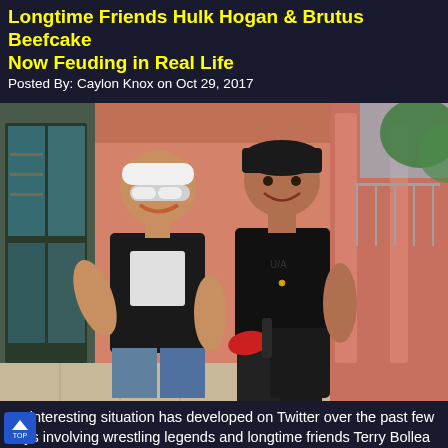Longtime Friends Hulk Hogan & Brutus Beefcake Now Feuding in Real Life
Posted By: Caylon Knox on Oct 29, 2017
[Figure (photo): Two muscular men posing together in what appears to be an outdoor corridor or walkway with pink/salmon-colored walls and columns. The man on the left wears a white bandana, white sunglasses, a black sleeveless shirt and jeans, with one arm extended outward. The man on the right wears a black cap, black sleeveless compression shirt, a gold necklace, and holds red gloves and a black bag.]
An interesting situation has developed on Twitter over the past few days involving wrestling legends and longtime friends Terry Bollea (Hulk Hogan) and Ed Leslie (Brutus "the Barber" Beefcake). Beefcake has announced that he